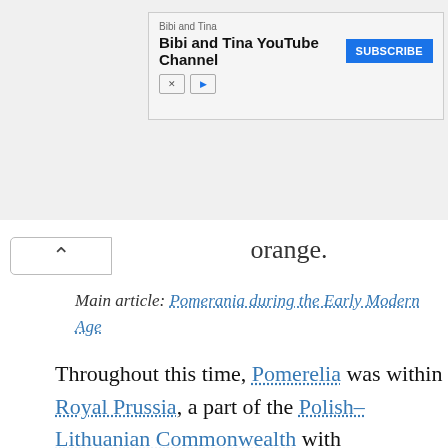[Figure (screenshot): YouTube channel advertisement banner for 'Bibi and Tina' with a blue Subscribe button]
orange.
Main article: Pomerania during the Early Modern Age
Throughout this time, Pomerelia was within Royal Prussia, a part of the Polish–Lithuanian Commonwealth with considerable autonomy. In the late 18th century, it became a part of Prussia.